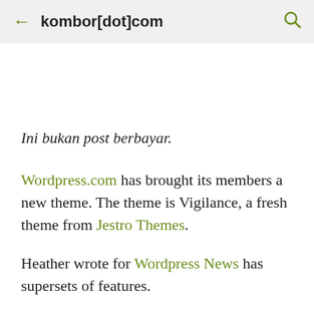← kombor[dot]com 🔍
Ini bukan post berbayar.
Wordpress.com has brought its members a new theme. The theme is Vigilance, a fresh theme from Jestro Themes.
Heather wrote for Wordpress News has supersets of features.